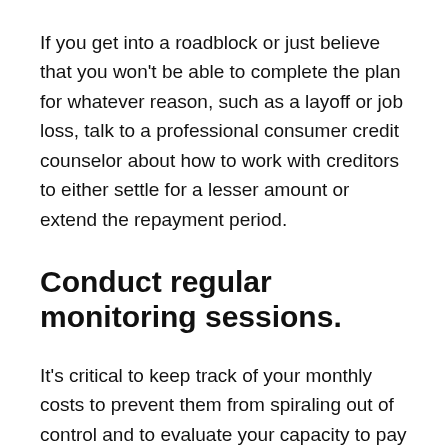If you get into a roadblock or just believe that you won't be able to complete the plan for whatever reason, such as a layoff or job loss, talk to a professional consumer credit counselor about how to work with creditors to either settle for a lesser amount or extend the repayment period.
Conduct regular monitoring sessions.
It's critical to keep track of your monthly costs to prevent them from spiraling out of control and to evaluate your capacity to pay off debt. Avoid scheduling sessions at the start or end of the